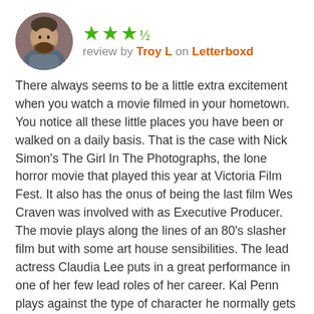[Figure (photo): Circular avatar photo of a man with a beard, wearing a blue/gray hoodie, standing in front of a brick wall.]
★★★½  review by Troy L on Letterboxd
There always seems to be a little extra excitement when you watch a movie filmed in your hometown. You notice all these little places you have been or walked on a daily basis. That is the case with Nick Simon's The Girl In The Photographs, the lone horror movie that played this year at Victoria Film Fest. It also has the onus of being the last film Wes Craven was involved with as Executive Producer. The movie plays along the lines of an 80's slasher film but with some art house sensibilities. The lead actress Claudia Lee puts in a great performance in one of her few lead roles of her career. Kal Penn plays against the type of character he normally gets cast in when cast as a self centred famous photographer returning to his small hometown